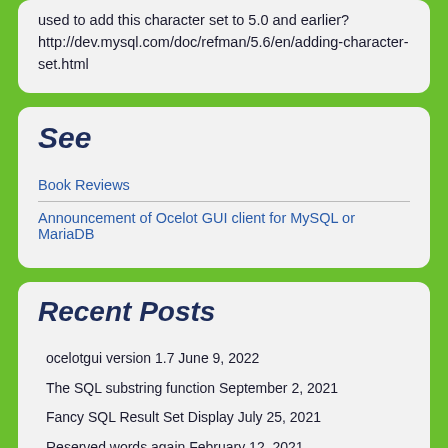used to add this character set to 5.0 and earlier? http://dev.mysql.com/doc/refman/5.6/en/adding-character-set.html
See
Book Reviews
Announcement of Ocelot GUI client for MySQL or MariaDB
Recent Posts
ocelotgui version 1.7 June 9, 2022
The SQL substring function September 2, 2021
Fancy SQL Result Set Display July 25, 2021
Reserved words again February 12, 2021
Autocompletion with the mysql client November 6, 2020